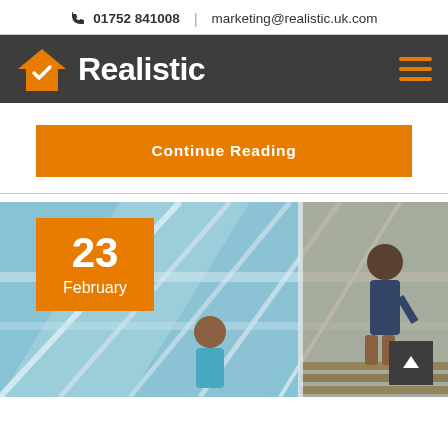01752 841008 | marketing@realistic.uk.com
[Figure (logo): Realistic logo: orange house with checkmark icon and white bold text 'Realistic' on dark grey navigation bar]
Continue Reading
[Figure (photo): Photo of a glass conservatory/veranda roof with a woman sitting inside and a man standing outside on a decking area. Date badge overlay: 23 February]